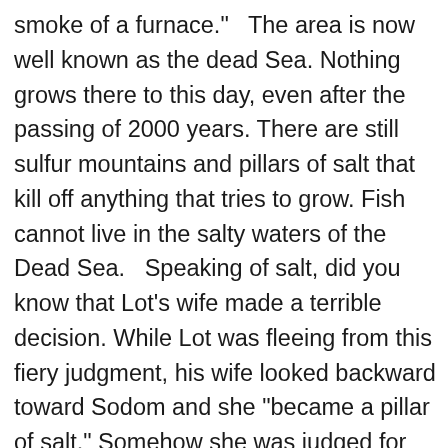smoke of a furnace."   The area is now well known as the dead Sea. Nothing grows there to this day, even after the passing of 2000 years. There are still sulfur mountains and pillars of salt that kill off anything that tries to grow. Fish cannot live in the salty waters of the Dead Sea.   Speaking of salt, did you know that Lot's wife made a terrible decision. While Lot was fleeing from this fiery judgment, his wife looked backward toward Sodom and she "became a pillar of salt." Somehow she was judged for her inner love for that wicked city. The Lord Jesus spoke about that day. He said, "Remember Lot's wife."  The Lord used the fate of Lot's wife to warn us not to love this world more than our souls. Jesus said that as it was in the days of Lot, so it will be when He returns. Then at the coming again of the Lord Jesus, the world will be destroyed by a worldwide fire that